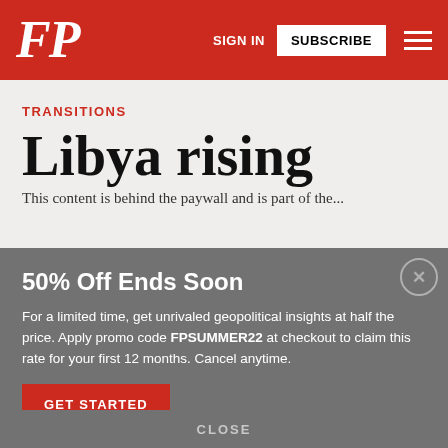FP — SIGN IN  SUBSCRIBE
TRANSITIONS
Libya rising
This content is behind the paywall...
50% Off Ends Soon
For a limited time, get unrivaled geopolitical insights at half the price. Apply promo code FPSUMMER22 at checkout to claim this rate for your first 12 months. Cancel anytime.
GET STARTED
CLOSE